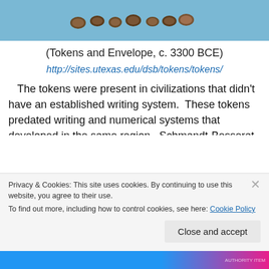[Figure (photo): Photo of ancient tokens (small clay or stone objects) arranged on a blue surface, partially cropped at top of page.]
(Tokens and Envelope, c. 3300 BCE)
http://sites.utexas.edu/dsb/tokens/tokens/
The tokens were present in civilizations that didn't have an established writing system.  These tokens predated writing and numerical systems that developed in the same region.  Schmandt-Besserat and other historians believe the tokens helped to emphasize the importance of
Privacy & Cookies: This site uses cookies. By continuing to use this website, you agree to their use.
To find out more, including how to control cookies, see here: Cookie Policy
Close and accept